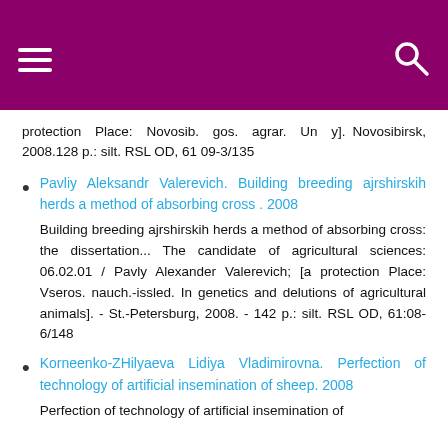protection Place: Novosib. gos. agrar. Un y]. Novosibirsk, 2008.128 p.: silt. RSL OD, 61 09-3/135
Pavliy Aleksandr Valerevich. Building breeding ajrshirskih herds a method of absorbing cross . 2008
Building breeding ajrshirskih herds a method of absorbing cross: the dissertation... The candidate of agricultural sciences: 06.02.01 / Pavly Alexander Valerevich; [a protection Place: Vseros. nauch.-issled. In genetics and delutions of agricultural animals]. - St.-Petersburg, 2008. - 142 p.: silt. RSL OD, 61:08-6/148
Korneenko-ZHilyaeva Lidiya Vladimirovna. Perfection of technology of artificial insemination of sheep. 2008
Perfection of technology of artificial insemination of